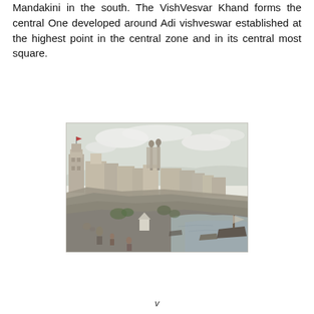Mandakini in the south. The VishVesvar Khand forms the central One developed around Adi vishveswar established at the highest point in the central zone and in its central most square.
[Figure (illustration): Historical etching/illustration of a riverside Indian city (Varanasi/Kashi), showing ghats, temples, minarets, buildings along the riverbank, with boats on the water and figures in the foreground.]
v